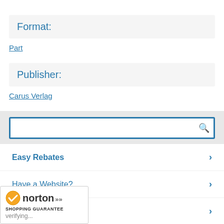Format:
Part
Publisher:
Carus Verlag
Easy Rebates
Have a Website?
FREE Newsletter
Basket
[Figure (screenshot): Norton Shopping Guarantee badge with verifying status]